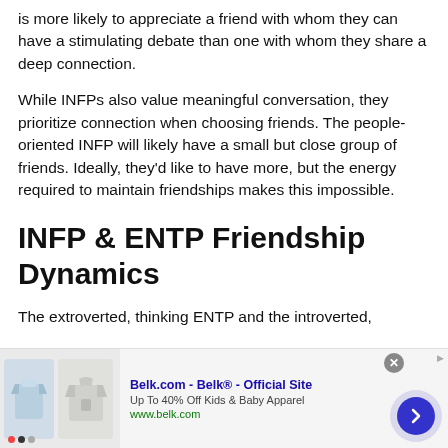is more likely to appreciate a friend with whom they can have a stimulating debate than one with whom they share a deep connection.
While INFPs also value meaningful conversation, they prioritize connection when choosing friends. The people-oriented INFP will likely have a small but close group of friends. Ideally, they'd like to have more, but the energy required to maintain friendships makes this impossible.
INFP & ENTP Friendship Dynamics
The extroverted, thinking ENTP and the introverted,
[Figure (other): Advertisement banner for Belk.com showing kids clothing items (shirt and hoodie), with text 'Belk.com - Belk® - Official Site', 'Up To 40% Off Kids & Baby Apparel', 'www.belk.com', and a navigation arrow button. Close button (x) in top right.]